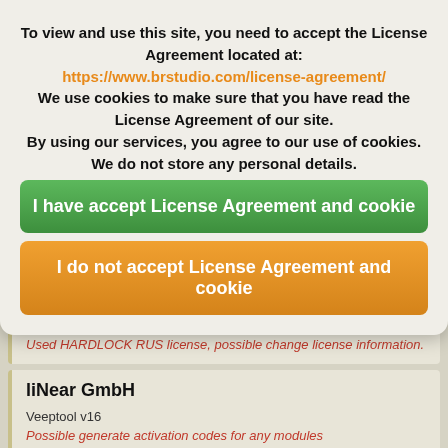To view and use this site, you need to accept the License Agreement located at:
https://www.brstudio.com/license-agreement/
We use cookies to make sure that you have read the License Agreement of our site. By using our services, you agree to our use of cookies. We do not store any personal details.
I have accept License Agreement and cookie
I do not accept License Agreement and cookie
Used HARDLOCK RUS license, possible change license information.
liNear GmbH
Veeptool v16
Possible generate activation codes for any modules
MANITOBA-HVDC